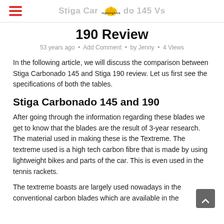Stiga Carbonado 145 Vs 190 Review
190 Review
53 years ago • Add Comment • by Jenny • 4 Views
In the following article, we will discuss the comparison between Stiga Carbonado 145 and Stiga 190 review. Let us first see the specifications of both the tables.
Stiga Carbonado 145 and 190
After going through the information regarding these blades we get to know that the blades are the result of 3-year research. The material used in making these is the Textreme. The textreme used is a high tech carbon fibre that is made by using lightweight bikes and parts of the car. This is even used in the tennis rackets.
The textreme boasts are largely used nowadays in the conventional carbon blades which are available in the